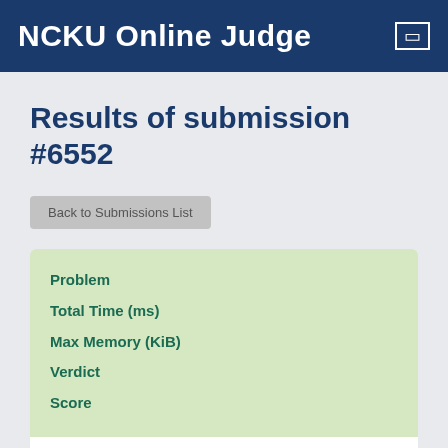NCKU Online Judge
Results of submission #6552
Back to Submissions List
| Field | Value |
| --- | --- |
| Problem | 22. □□□ k |
| Total Time (ms) | 159 |
| Max Memory (KiB) | 3512 |
| Verdict |  |
| Score |  |